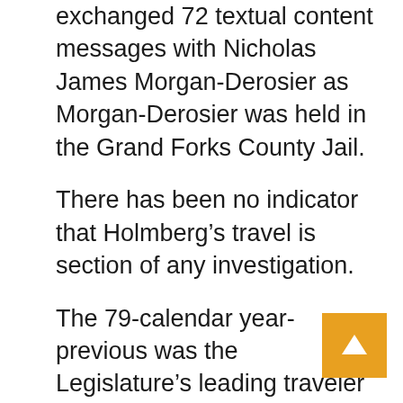exchanged 72 textual content messages with Nicholas James Morgan-Derosier as Morgan-Derosier was held in the Grand Forks County Jail.
There has been no indicator that Holmberg’s travel is section of any investigation.
The 79-calendar year-previous was the Legislature’s leading traveler in at least the past ten years — a interval when he held a article that authorized him to approve his own vacation. Records for his condition-reimbursed vacation throughout the prior three many years of tenure are incomplete or no more time exist.
The retired faculty counselor’s excursions had been both equally lawful and justifiable specified his tenure and his chairmanships, GOP Senate Grand part Leader Wealthy Wardner stated. But Wardner